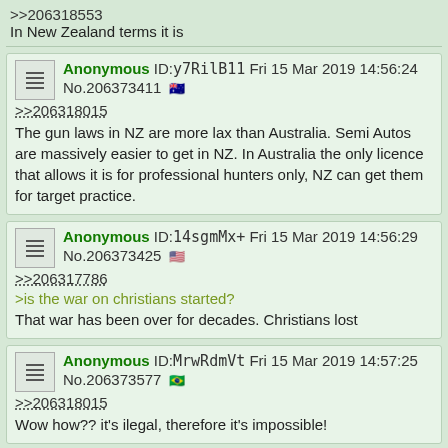>>206318553
In New Zealand terms it is
Anonymous ID:y7RilB11 Fri 15 Mar 2019 14:56:24
No.206373411 🇦🇺
>>206318015
The gun laws in NZ are more lax than Australia. Semi Autos are massively easier to get in NZ. In Australia the only licence that allows it is for professional hunters only, NZ can get them for target practice.
Anonymous ID:14sgmMx+ Fri 15 Mar 2019 14:56:29
No.206373425 🇺🇸
>>206317786
>is the war on christians started?
That war has been over for decades. Christians lost
Anonymous ID:MrwRdmVt Fri 15 Mar 2019 14:57:25
No.206373577 🇧🇷
>>206318015
Wow how?? it's ilegal, therefore it's impossible!
Anonymous ID:o2H0IxiY Fri 15 Mar 2019 14:58:41
No.206373751 🇨🇦
>>206337992